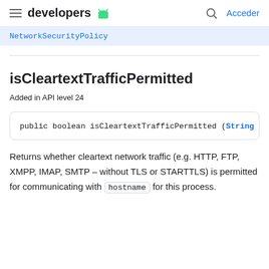developers  Acceder
NetworkSecurityPolicy
isCleartextTrafficPermitted
Added in API level 24
Returns whether cleartext network traffic (e.g. HTTP, FTP, XMPP, IMAP, SMTP – without TLS or STARTTLS) is permitted for communicating with hostname for this process.